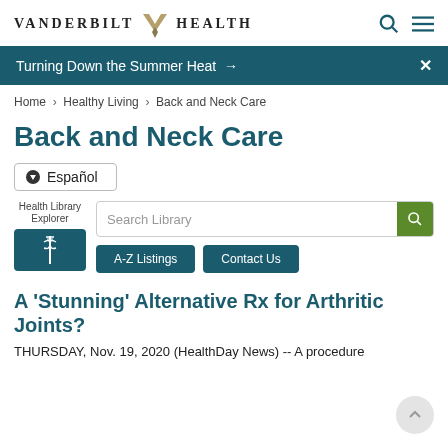VANDERBILT HEALTH
Turning Down the Summer Heat →
Home › Healthy Living › Back and Neck Care
Back and Neck Care
● Español
Health Library Explorer | Search Library | A-Z Listings | Contact Us
A 'Stunning' Alternative Rx for Arthritic Joints?
THURSDAY, Nov. 19, 2020 (HealthDay News) -- A procedure